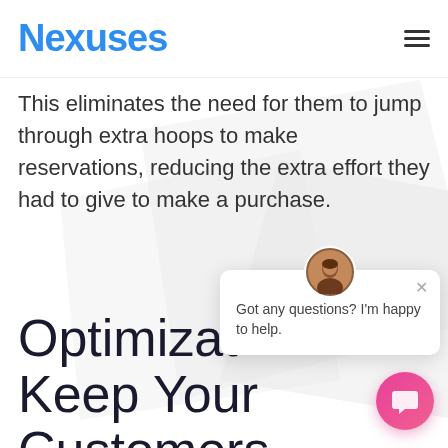Nexuses
This eliminates the need for them to jump through extra hoops to make reservations, reducing the extra effort they had to give to make a purchase.
[Figure (screenshot): Chat widget popup with female avatar, close button, and message 'Got any questions? I'm happy to help.']
Optimization Keep Your Customers Updated about Your